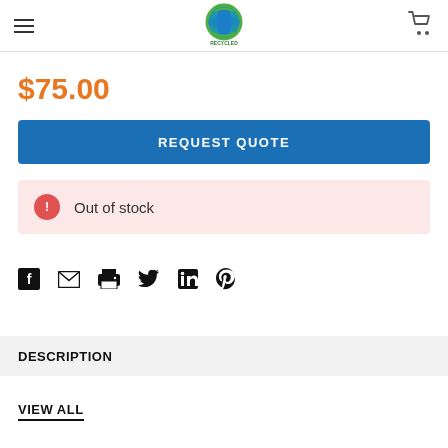Recycled Goods website header with hamburger menu, logo, and cart icon
$75.00
REQUEST QUOTE
Out of stock
[Figure (infographic): Social share icons: Facebook, Email, Print, Twitter, LinkedIn, Pinterest]
DESCRIPTION
VIEW ALL